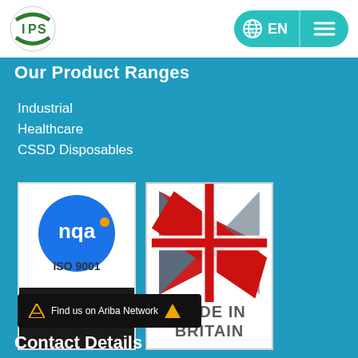[Figure (logo): IPS company logo - circular badge with green and white design, letters IPS]
[Figure (other): Navigation bar with globe/translate icon, EN language selector, and hamburger menu button in teal pill shape]
Our Product Ranges
Industrial
Healthcare
CSSD Disposables
[Figure (logo): NQA ISO 9001 Quality Management certification badge - blue circle with nqa text and orange dot, white background top, black background bottom with QUALITY MANAGEMENT text]
[Figure (logo): Made in Britain badge - Union Jack arrow graphic in red, white and grey on white background with MADE IN BRITAIN text below]
[Figure (other): Find us on Ariba Network button - dark background with white text and Ariba mountain/arrow logo]
Contact Details